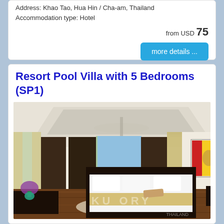Address: Khao Tao, Hua Hin / Cha-am, Thailand
Accommodation type: Hotel
from USD 75
more details ...
Resort Pool Villa with 5 Bedrooms (SP1)
[Figure (photo): Interior photo of a luxury villa bedroom with high ceiling, ceiling fan, dark wood floors, large bed with white linens, colorful artwork on wall, and large windows/doors opening to outdoor pool area.]